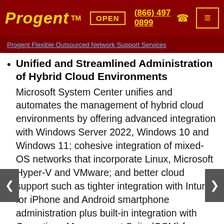Progent™  OPEN  (866) 497 0899  ☎  ≡
Progent Flexible Outsourced Network Support Services
Unified and Streamlined Administration of Hybrid Cloud Environments
Microsoft System Center unifies and automates the management of hybrid cloud environments by offering advanced integration with Windows Server 2022, Windows 10 and Windows 11; cohesive integration of mixed-OS networks that incorporate Linux, Microsoft Hyper-V and VMware; and better cloud support such as tighter integration with Intune for iPhone and Android smartphone administration plus built-in integration with Operations Management Suite (OSM) for cloud-enhanced analytics and reporting. Progent's System Center consulting experts offer advanced online and on-premises